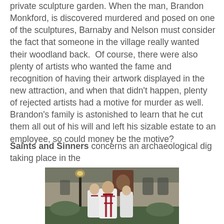private sculpture garden.  When the man, Brandon Monkford, is discovered murdered and posed on one of the sculptures, Barnaby and Nelson must consider the fact that someone in the village really wanted their woodland back.  Of course, there were also plenty of artists who wanted the fame and recognition of having their artwork displayed in the new attraction, and when that didn't happen, plenty of rejected artists had a motive for murder as well.  Brandon's family is astonished to learn that he cut them all out of his will and left his sizable estate to an employee, so could money be the motive?
Saints and Sinners concerns an archaeological dig taking place in the
[Figure (photo): Photograph of clergy in white robes and red stoles walking in a procession in front of a stone church, with a lamp post and a religious banner/icon visible.]